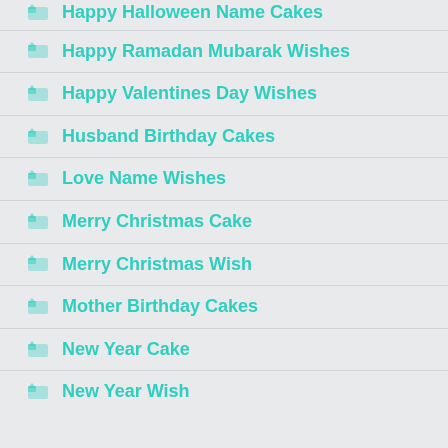Happy Halloween Name Cakes
Happy Ramadan Mubarak Wishes
Happy Valentines Day Wishes
Husband Birthday Cakes
Love Name Wishes
Merry Christmas Cake
Merry Christmas Wish
Mother Birthday Cakes
New Year Cake
New Year Wish